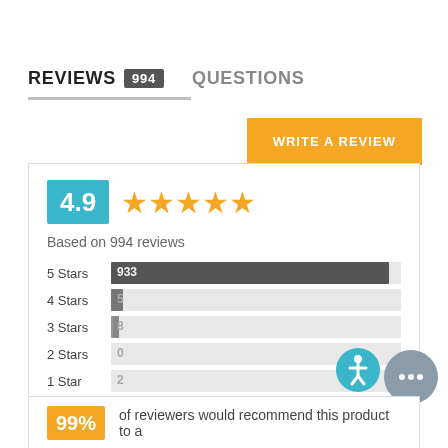REVIEWS 994   QUESTIONS
WRITE A REVIEW
[Figure (other): Rating summary card: 4.9 stars (5 orange stars), Based on 994 reviews. Bar chart: 5 Stars 933, 4 Stars 5, 3 Stars 8, 2 Stars 0, 1 Star 2]
99% of reviewers would recommend this product to a